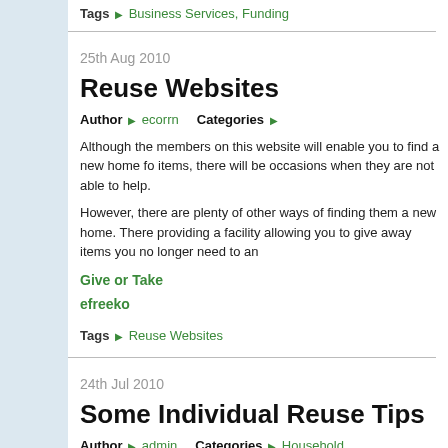Tags ▶ Business Services, Funding
25th Aug 2010
Reuse Websites
Author ▶ ecorrn    Categories ▶
Although the members on this website will enable you to find a new home fo items, there will be occasions when they are not able to help.
However, there are plenty of other ways of finding them a new home. There providing a facility allowing you to give away items you no longer need to an
Give or Take
efreeko
Tags ▶ Reuse Websites
24th Jul 2010
Some Individual Reuse Tips
Author ▶ admin    Categories ▶ Household